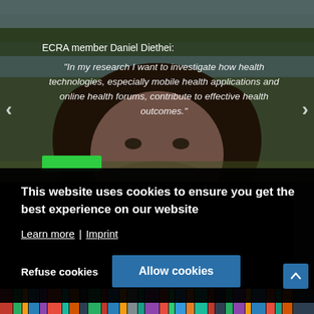[Figure (photo): Portrait photo of ECRA member Daniel Diethei outdoors near a lake with grassy reeds and trees in the background]
ECRA member Daniel Diethei:
"In my research I want to investigate how health technologies, especially mobile health applications and online health forums, contribute to effective health outcomes."
This website uses cookies to ensure you get the best experience on our website
Learn more | Imprint
Refuse cookies
Allow cookies